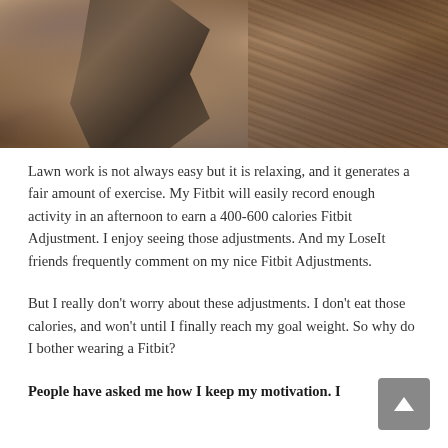[Figure (photo): Close-up photo of an axe head embedded in a log, surrounded by split firewood and wood chunks in the background.]
Lawn work is not always easy but it is relaxing, and it generates a fair amount of exercise. My Fitbit will easily record enough activity in an afternoon to earn a 400-600 calories Fitbit Adjustment. I enjoy seeing those adjustments. And my LoseIt friends frequently comment on my nice Fitbit Adjustments.
But I really don't worry about these adjustments. I don't eat those calories, and won't until I finally reach my goal weight. So why do I bother wearing a Fitbit?
People have asked me how I keep my motivation. I